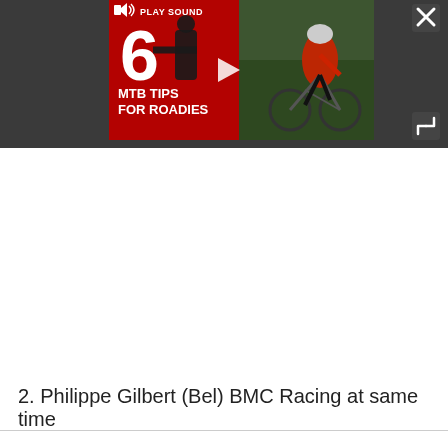[Figure (screenshot): Video thumbnail showing '6 MTB TIPS FOR ROADIES' with a play button overlay, two people (one on a mountain bike), dark background with red panel on left. Controls include PLAY SOUND button top-left, close X top-right, and expand button bottom-right.]
2. Philippe Gilbert (Bel) BMC Racing at same time